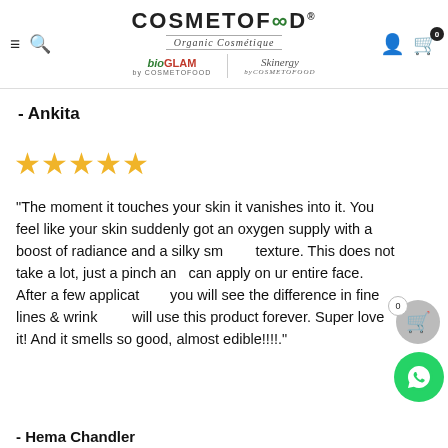[Figure (logo): Cosmetofood website header with logo, tagline 'Organic Cosmétique', sub-brands BioGlam and Skinergy, hamburger menu, search icon, user icon, and shopping cart with badge 0]
- Ankita
[Figure (other): 5 gold stars rating]
"The moment it touches your skin it vanishes into it. You feel like your skin suddenly got an oxygen supply with a boost of radiance and a silky smooth texture. This does not take a lot, just a pinch and can apply on ur entire face. After a few applications you will see the difference in fine lines & wrinkles. I will use this product forever. Super love it! And it smells so good, almost edible!!!!."
- Hema Chandler